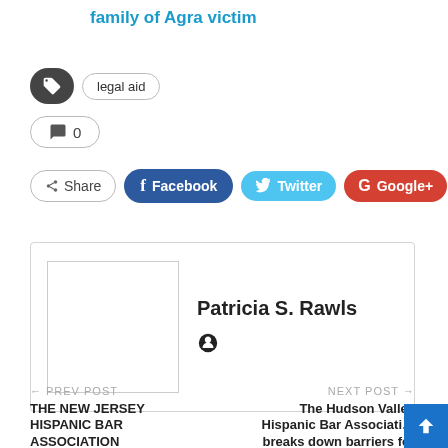family of Agra victim
legal aid
0
Share  Facebook  Twitter  Google+
Patricia S. Rawls
← PREV POST
THE NEW JERSEY HISPANIC BAR ASSOCIATION
NEXT POST →
The Hudson Valley Hispanic Bar Association breaks down barriers for